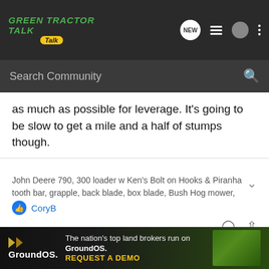[Figure (screenshot): Green Tractor Talk forum website header with logo, navigation icons (NEW bubble, list, user, more), and a dark search bar reading 'Search Community']
as much as possible for leverage. It's going to be slow to get a mile and a half of stumps though.
John Deere 790, 300 loader w Ken's Bolt on Hooks & Piranha tooth bar, grapple, back blade, box blade, Bush Hog mower, couple of red
CoryB
ttazzman · Registered 🇺🇸
Joined Feb 2, 2019 · 2,919 Posts
#4 · Dec
with wha
[Figure (screenshot): GroundOS advertisement banner: 'The nation's top land brokers run on GroundOS. REQUEST A DEMO' with GroundOS logo and aerial farm photo background]